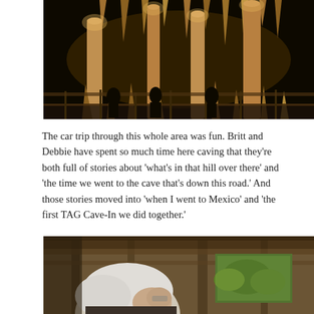[Figure (photo): Interior of a cave showing illuminated stalactites and stalagmites with silhouettes of visitors on a walkway. Warm amber lighting highlights the cave formations against a dark background.]
The car trip through this whole area was fun. Britt and Debbie have spent so much time here caving that they’re both full of stories about ‘what’s in that hill over there’ and ‘the time we went to the cave that’s down this road.’ And those stories moved into ‘when I went to Mexico’ and ‘the first TAG Cave-In we did together.’
[Figure (photo): Close-up of an elderly person with white/grey hair viewed from behind or side, inside a wooden structure with beams visible and greenery outside.]